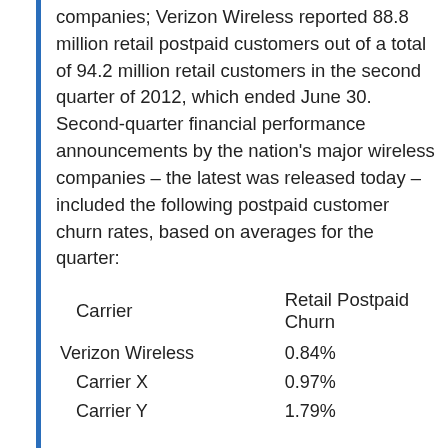companies; Verizon Wireless reported 88.8 million retail postpaid customers out of a total of 94.2 million retail customers in the second quarter of 2012, which ended June 30. Second-quarter financial performance announcements by the nation's major wireless companies – the latest was released today – included the following postpaid customer churn rates, based on averages for the quarter:
| Carrier | Retail Postpaid Churn |
| --- | --- |
| Verizon Wireless | 0.84% |
| Carrier X | 0.97% |
| Carrier Y | 1.79% |